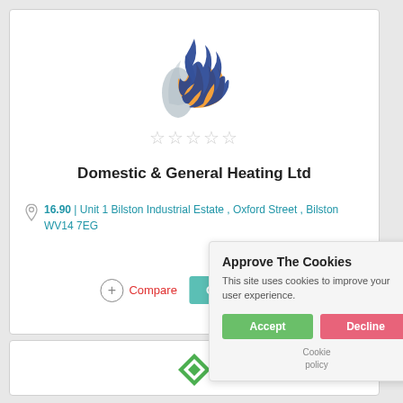[Figure (logo): Flame logo with blue, orange and grey colors for Domestic & General Heating Ltd]
[Figure (other): Five empty grey star rating icons]
Domestic & General Heating Ltd
16.90 | Unit 1 Bilston Industrial Estate , Oxford Street , Bilston WV14 7EG
Compare
Get a Quote
Approve The Cookies
This site uses cookies to improve your user experience.
Accept
Decline
Cookie policy
[Figure (logo): Green diamond/rhombus shape logo at bottom of page]